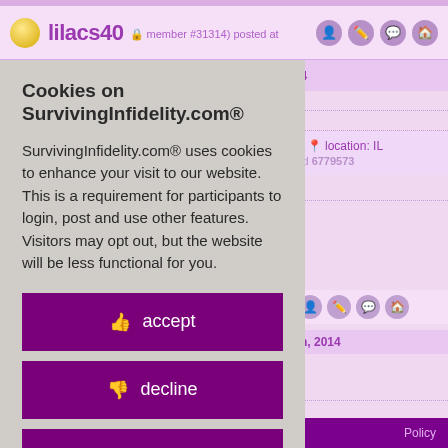[Figure (screenshot): Forum page background showing SurvivingInfidelity.com with user 'lilacs40' post header, location IL, id 6779573, and second user row with date 'h, 2014'. Pink/lavender color scheme.]
Cookies on SurvivingInfidelity.com®
SurvivingInfidelity.com® uses cookies to enhance your visit to our website. This is a requirement for participants to login, post and use other features. Visitors may opt out, but the website will be less functional for you.
👍 accept
👎 decline
🍪 about cookies
Policy